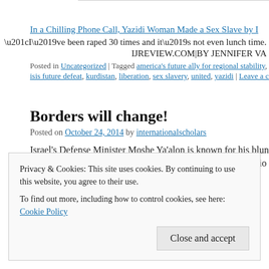In a Chilling Phone Call, Yazidi Woman Made a Sex Slave by I[SIS]...
“I’ve been raped 30 times and it’s not even lunch time.
IJREVIEW.COM|BY JENNIFER VA[NDERHART]
Posted in Uncategorized | Tagged america's future ally for regional stability, b[...], isis future defeat, kurdistan, liberation, sex slavery, united, yazidi | Leave a co[mment]
Borders will change!
Posted on October 24, 2014 by internationalscholars
Israel’s Defense Minister Moshe Ya’alon is known for his blunt[ness...] Steve Inskeep was no exceptio[n...]
Privacy & Cookies: This site uses cookies. By continuing to use this website, you agree to their use. To find out more, including how to control cookies, see here: Cookie Policy
Close and accept